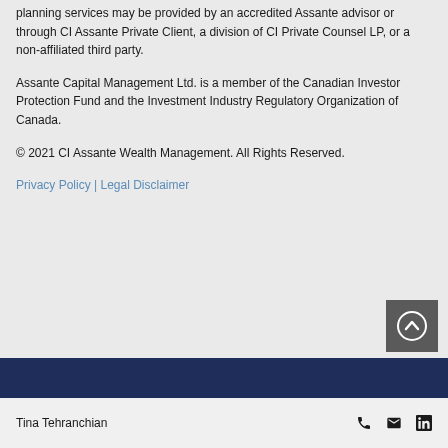planning services may be provided by an accredited Assante advisor or through CI Assante Private Client, a division of CI Private Counsel LP, or a non-affiliated third party.
Assante Capital Management Ltd. is a member of the Canadian Investor Protection Fund and the Investment Industry Regulatory Organization of Canada.
© 2021 CI Assante Wealth Management. All Rights Reserved.
Privacy Policy | Legal Disclaimer
[Figure (other): Dark grey square button with a white upward-pointing chevron/arrow icon for scrolling to top of page]
Tina Tehranchian